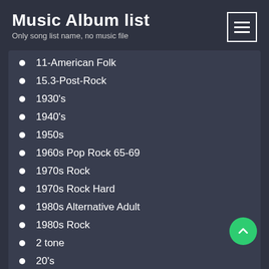Music Album list
Only song list name, no music file
11-American Folk
15.3-Post-Rock
1930's
1940's
1950s
1960s Pop Rock 65-69
1970s Rock
1970s Rock Hard
1980s Alternative Adult
1980s Rock
2 tone
20's
2000er Party
21th Century Modern Rock
30s
3p
40's